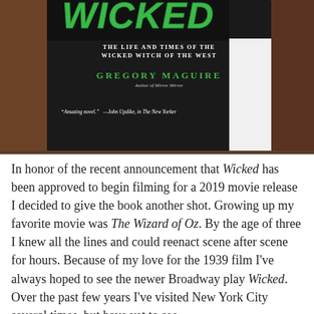[Figure (photo): Photograph of the book 'Wicked: The Life and Times of the Wicked Witch of the West' by Gregory Maguire, showing the front cover with green title text, black background, and a quote from John Updike in The New Yorker, resting on a wooden surface.]
In honor of the recent announcement that Wicked has been approved to begin filming for a 2019 movie release I decided to give the book another shot. Growing up my favorite movie was The Wizard of Oz. By the age of three I knew all the lines and could reenact scene after scene for hours. Because of my love for the 1939 film I've always hoped to see the newer Broadway play Wicked. Over the past few years I've visited New York City several times, but have yet to see